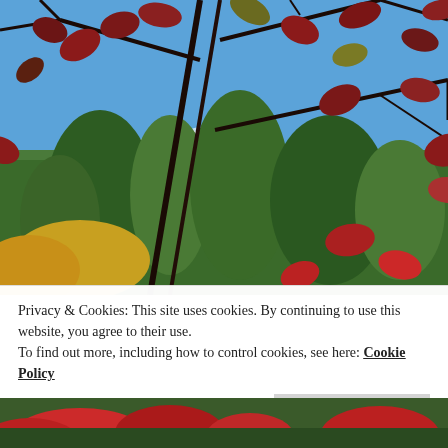[Figure (photo): Autumn scene photographed looking up through dark reddish-purple tree branches with red and gold leaves against a bright blue sky, with green conifer trees visible in the background and more colorful foliage in the lower portion.]
Privacy & Cookies: This site uses cookies. By continuing to use this website, you agree to their use.
To find out more, including how to control cookies, see here: Cookie Policy
Close and accept